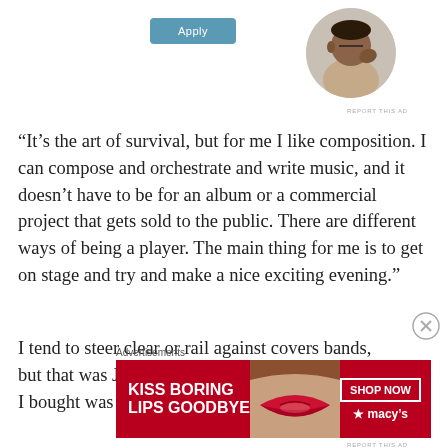[Figure (other): A teal/blue Apply button]
[Figure (photo): Circular profile photo of a man thinking, wearing a beige shirt, resting his hand on his chin]
REPORT THIS AD
“It’s the art of survival, but for me I like composition. I can compose and orchestrate and write music, and it doesn’t have to be for an album or a commercial project that gets sold to the public. There are different ways of being a player. The main thing for me is to get on stage and try and make a nice exciting evening.”
I tend to steer clear or rail against covers bands, but that was James’ way in. The first record of his I bought was
[Figure (other): Close (X) button circle]
Advertisements
[Figure (infographic): Red advertisement banner reading 'KISS BORING LIPS GOODBYE' with a woman's lips photo, a 'SHOP NOW' button, and the Macy's star logo]